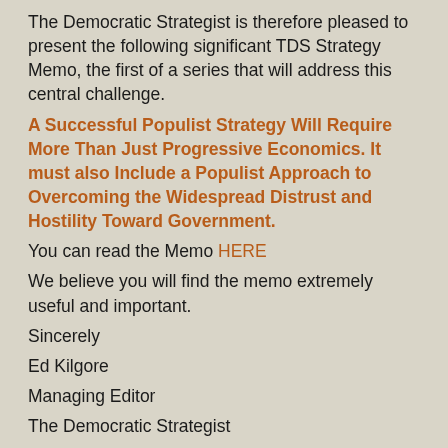The Democratic Strategist is therefore pleased to present the following significant TDS Strategy Memo, the first of a series that will address this central challenge.
A Successful Populist Strategy Will Require More Than Just Progressive Economics. It must also Include a Populist Approach to Overcoming the Widespread Distrust and Hostility Toward Government.
You can read the Memo HERE
We believe you will find the memo extremely useful and important.
Sincerely
Ed Kilgore
Managing Editor
The Democratic Strategist
No Comments »
TDS Strategy Memo: The White Working Class is a